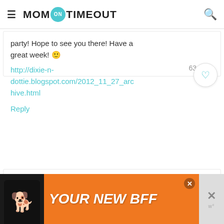MOM ON TIMEOUT
party! Hope to see you there! Have a great week! 🙂
http://dixie-n-dottie.blogspot.com/2012_11_27_archive.html
Reply
Katrina says
November 20, 2012 at 1:18 AM
[Figure (screenshot): Ad banner: orange background with dog image and text YOUR NEW BFF]
[Figure (screenshot): Like button showing count 63 and heart icon, plus floating search FAB]